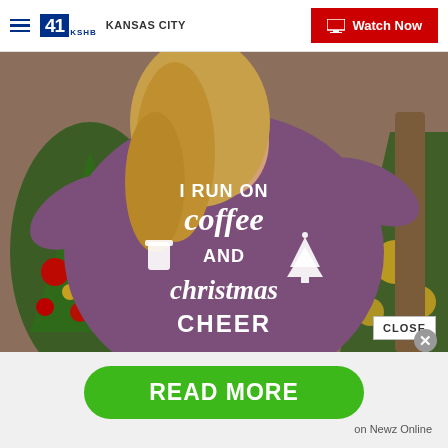41 KSHB KANSAS CITY | Watch Now
[Figure (photo): Woman wearing a purple long-sleeve shirt with white text reading 'I RUN ON coffee AND christmas CHEER' with coffee cup and Christmas tree graphics, standing in front of a Christmas tree with red and gold ornaments]
CLOSE
READ MORE
on Newz Online